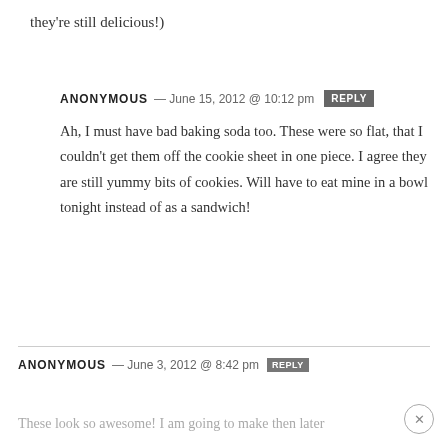they're still delicious!)
ANONYMOUS — June 15, 2012 @ 10:12 pm  REPLY
Ah, I must have bad baking soda too. These were so flat, that I couldn't get them off the cookie sheet in one piece. I agree they are still yummy bits of cookies. Will have to eat mine in a bowl tonight instead of as a sandwich!
ANONYMOUS — June 3, 2012 @ 8:42 pm  REPLY
These look so awesome! I am going to make then later